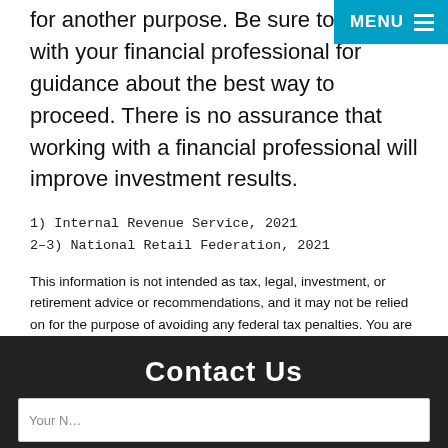for another purpose. Be sure to speak with your financial professional for guidance about the best way to proceed. There is no assurance that working with a financial professional will improve investment results.
1) Internal Revenue Service, 2021
2–3) National Retail Federation, 2021
This information is not intended as tax, legal, investment, or retirement advice or recommendations, and it may not be relied on for the purpose of avoiding any federal tax penalties. You are encouraged to seek guidance from an independent tax or legal professional. The content is derived from sources believed to be accurate. Neither the information presented nor any opinion expressed constitutes a solicitation for the purchase or sale of any security. This material was written and prepared by Broadridge Advisor Solutions. © 2022 Broadridge Financial Solutions, Inc.
Contact Us